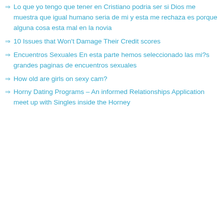Lo que yo tengo que tener en Cristiano podria ser si Dios me muestra que igual humano seria de mi y esta me rechaza es porque alguna cosa esta mal en la novia
10 Issues that Won't Damage Their Credit scores
Encuentros Sexuales En esta parte hemos seleccionado las mi?s grandes paginas de encuentros sexuales
How old are girls on sexy cam?
Horny Dating Programs – An informed Relationships Application meet up with Singles inside the Horney